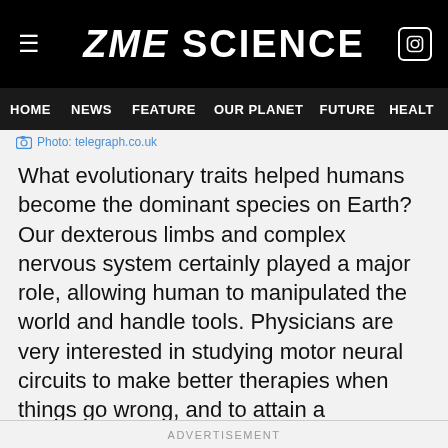ZME SCIENCE
HOME | NEWS | FEATURE | OUR PLANET | FUTURE | HEALT
Photo: telegraph.co.uk
What evolutionary traits helped humans become the dominant species on Earth? Our dexterous limbs and complex nervous system certainly played a major role, allowing human to manipulated the world and handle tools. Physicians are very interested in studying motor neural circuits to make better therapies when things go wrong, and to attain a comprehensive understanding one needs to get to the absolute root, even million of years back in the evolutionary timeline.
ADVERTISEMENT